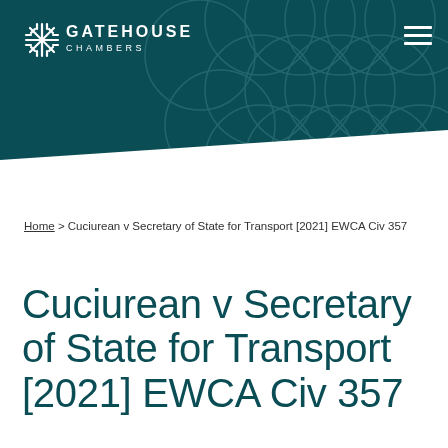[Figure (logo): Gatehouse Chambers logo with snowflake/asterisk icon and text 'GATEHOUSE CHAMBERS' on dark teal background with decorative circular pattern]
Home > Cuciurean v Secretary of State for Transport [2021] EWCA Civ 357
Cuciurean v Secretary of State for Transport [2021] EWCA Civ 357